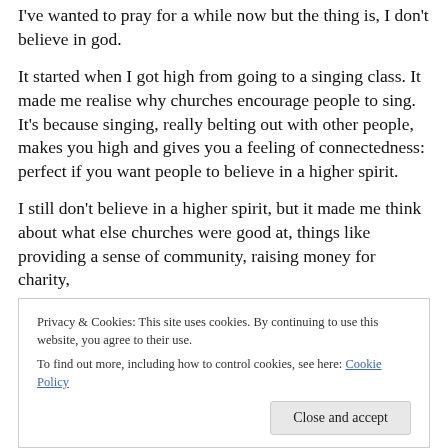I've wanted to pray for a while now but the thing is, I don't believe in god.
It started when I got high from going to a singing class. It made me realise why churches encourage people to sing. It's because singing, really belting out with other people, makes you high and gives you a feeling of connectedness: perfect if you want people to believe in a higher spirit.
I still don't believe in a higher spirit, but it made me think about what else churches were good at, things like providing a sense of community, raising money for charity,
Privacy & Cookies: This site uses cookies. By continuing to use this website, you agree to their use.
To find out more, including how to control cookies, see here: Cookie Policy
Close and accept